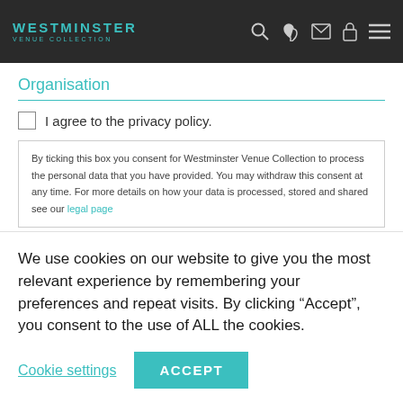WESTMINSTER VENUE COLLECTION
Organisation
I agree to the privacy policy.
By ticking this box you consent for Westminster Venue Collection to process the personal data that you have provided. You may withdraw this consent at any time. For more details on how your data is processed, stored and shared see our legal page
We use cookies on our website to give you the most relevant experience by remembering your preferences and repeat visits. By clicking “Accept”, you consent to the use of ALL the cookies.
Cookie settings
ACCEPT